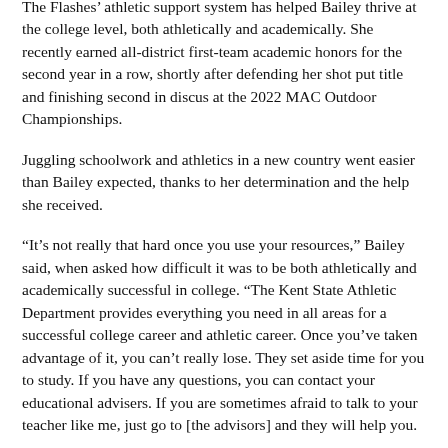The Flashes' athletic support system has helped Bailey thrive at the college level, both athletically and academically. She recently earned all-district first-team academic honors for the second year in a row, shortly after defending her shot put title and finishing second in discus at the 2022 MAC Outdoor Championships.
Juggling schoolwork and athletics in a new country went easier than Bailey expected, thanks to her determination and the help she received.
“It’s not really that hard once you use your resources,” Bailey said, when asked how difficult it was to be both athletically and academically successful in college. “The Kent State Athletic Department provides everything you need in all areas for a successful college career and athletic career. Once you’ve taken advantage of it, you can’t really lose. They set aside time for you to study. If you have any questions, you can contact your educational advisers. If you are sometimes afraid to talk to your teacher like me, just go to [the advisors] and they will help you.